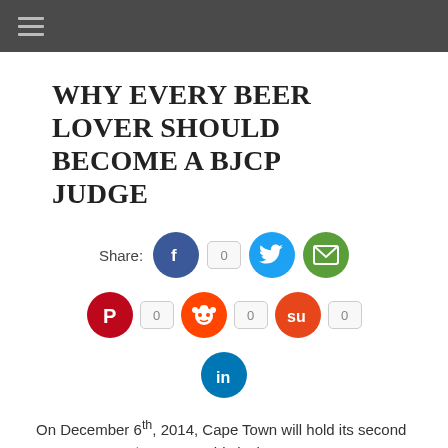Navigation menu bar
WHY EVERY BEER LOVER SHOULD BECOME A BJCP JUDGE
[Figure (infographic): Social share buttons row 1: Facebook icon, count badge 0, Twitter bird icon, email/envelope icon]
[Figure (infographic): Social share buttons row 2: Pinterest icon, count 0, Reddit alien icon, count 0, StumbleUpon icon, count 0]
[Figure (infographic): Social share button row 3: LinkedIn icon]
On December 6th, 2014, Cape Town will hold its second ever BJCP tasting exam. This is the